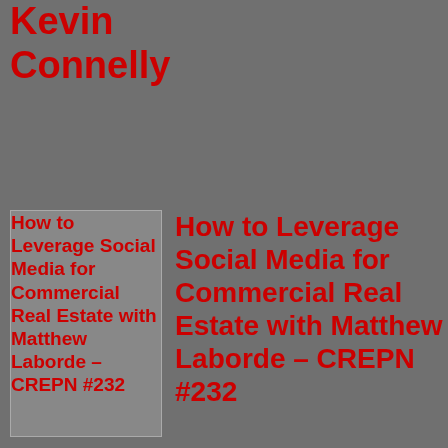Project with Kevin Connelly
[Figure (screenshot): Thumbnail image for podcast episode: How to Leverage Social Media for Commercial Real Estate with Matthew Laborde – CREPN #232]
How to Leverage Social Media for Commercial Real Estate with Matthew Laborde – CREPN #232